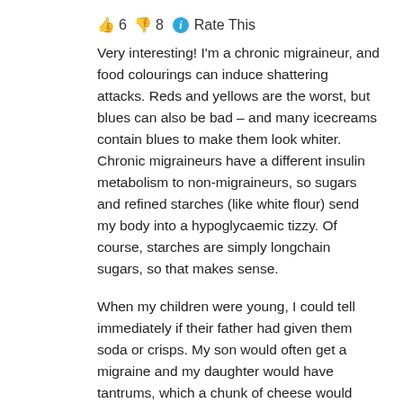👍 6 👎 8 ℹ Rate This
Very interesting! I'm a chronic migraineur, and food colourings can induce shattering attacks. Reds and yellows are the worst, but blues can also be bad – and many icecreams contain blues to make them look whiter. Chronic migraineurs have a different insulin metabolism to non-migraineurs, so sugars and refined starches (like white flour) send my body into a hypoglycaemic tizzy. Of course, starches are simply longchain sugars, so that makes sense.
When my children were young, I could tell immediately if their father had given them soda or crisps. My son would often get a migraine and my daughter would have tantrums, which a chunk of cheese would usually resolve. Unfortunately nothing but time resolved my son's headaches. Even more unfortunately, my ex-husband would never accept the evidence that junk foods harmed the children, made it into a big power struggle, and sneaked stuff to the kids.